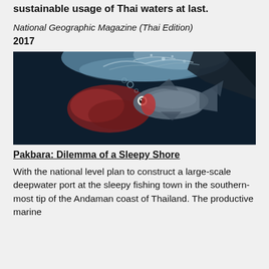sustainable usage of Thai waters at last.
National Geographic Magazine (Thai Edition)
2017
[Figure (photo): Underwater photograph of a fish near the surface, with splashing water and reddish blood-like cloud in dark water. The fish has visible scales and a large eye.]
Pakbara: Dilemma of a Sleepy Shore
With the national level plan to construct a large-scale deepwater port at the sleepy fishing town in the southern-most tip of the Andaman coast of Thailand. The productive marine